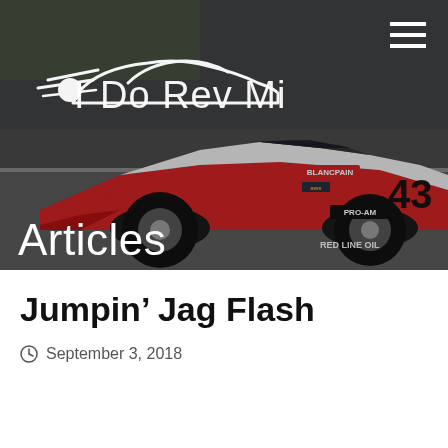[Figure (photo): Hero banner image of a white and red race car (number 43) with Blancpain and other sponsor logos on a racing circuit. Overlaid with the 'I Do Rev Mi' website logo (white car silhouette with speed lines) and the text 'Articles'.]
Jumpin’ Jag Flash
September 3, 2018